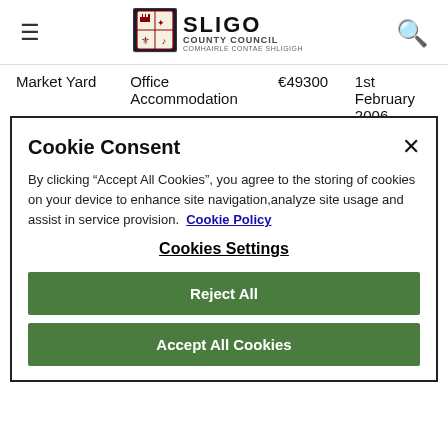Sligo County Council
| Location | Type | Amount | Date |
| --- | --- | --- | --- |
| Market Yard | Office Accommodation | €49300 | 1st February 2006 |
| Market Yard | Office | €38700 | 1st October ... |
Cookie Consent
By clicking "Accept All Cookies", you agree to the storing of cookies on your device to enhance site navigation,analyze site usage and assist in service provision.  Cookie Policy
Cookies Settings
Reject All
Accept All Cookies